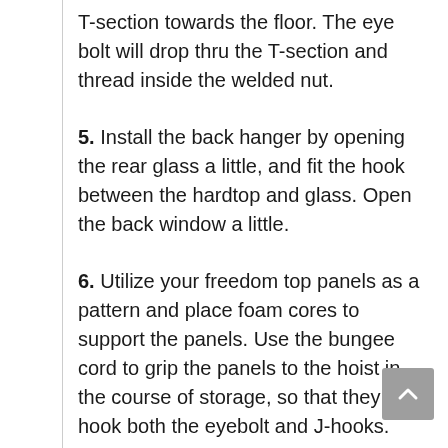T-section towards the floor. The eye bolt will drop thru the T-section and thread inside the welded nut.
5. Install the back hanger by opening the rear glass a little, and fit the hook between the hardtop and glass. Open the back window a little.
6. Utilize your freedom top panels as a pattern and place foam cores to support the panels. Use the bungee cord to grip the panels to the hoist in the course of storage, so that they can hook both the eyebolt and J-hooks.